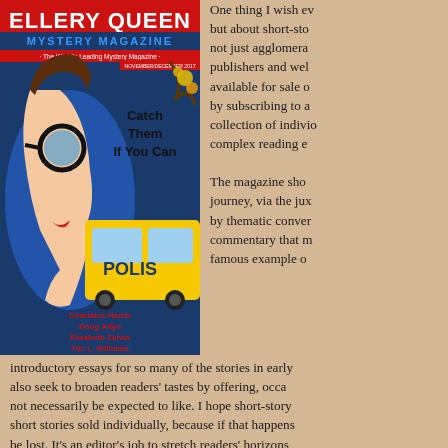[Figure (illustration): Cover of Ellery Queen Mystery Magazine November/December 2017 issue, featuring a stylized illustration of a woman in blue with large round glasses and red lips, a yellow taxi cab with 'POLIS' text, and story authors listed: Charlaine Harris, Doug Allyn, Elizabeth Zelvin, Tim L. Williams. Headline text reads 'Catch Them If You Can'.]
One thing I wish ev... but about short-sto... not just agglomera... publishers and wel... available for sale o... by subscribing to a... collection of indivi... complex reading e...
The magazine sho... journey, via the jux... by thematic conver... commentary that m... famous example o... introductory essays for so many of the stories in early... also seek to broaden readers' tastes by offering, occa... not necessarily be expected to like. I hope short-story... short stories sold individually, because if that happens... be lost. It's an editor's job to stretch readers' horizons...